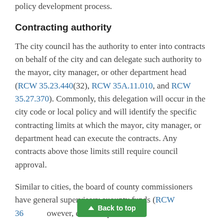policy development process.
Contracting authority
The city council has the authority to enter into contracts on behalf of the city and can delegate such authority to the mayor, city manager, or other department head (RCW 35.23.440(32), RCW 35A.11.010, and RCW 35.27.370). Commonly, this delegation will occur in the city code or local policy and will identify the specific contracting limits at which the mayor, city manager, or department head can execute the contracts. Any contracts above those limits still require council approval.
Similar to cities, the board of county commissioners have general supervisory authority over county funds (RCW 36... however, case law provides